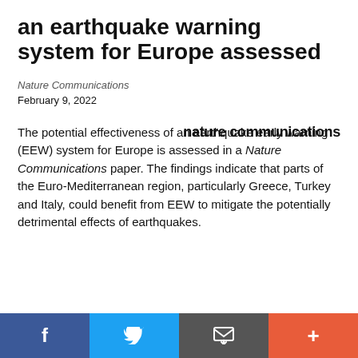an earthquake warning system for Europe assessed
Nature Communications
February 9, 2022
[Figure (logo): nature communications logo in bold black lowercase sans-serif text]
The potential effectiveness of an earthquake early warning (EEW) system for Europe is assessed in a Nature Communications paper. The findings indicate that parts of the Euro-Mediterranean region, particularly Greece, Turkey and Italy, could benefit from EEW to mitigate the potentially detrimental effects of earthquakes.
f  Twitter bird icon  Email icon  +